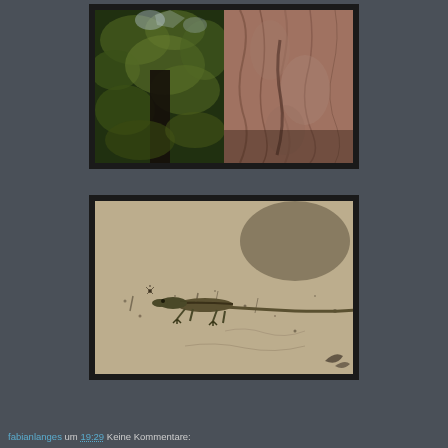[Figure (photo): Two nature photos: top shows tree canopy with leaves on the left and tree bark on the right; bottom shows a lizard resting on a rock surface.]
fabianlanges um 19:29    Keine Kommentare: